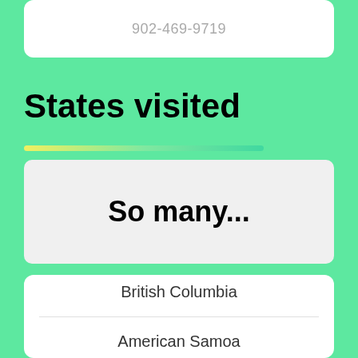902-469-9719
States visited
[Figure (infographic): A horizontal gradient bar from yellow to green, indicating a progress or gradient indicator under the States visited heading]
So many...
British Columbia
American Samoa